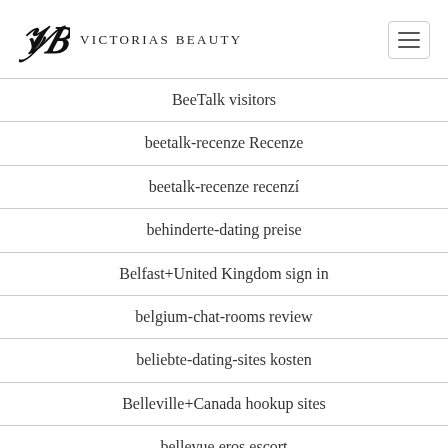VICTORIAS BEAUTY
BeeTalk visitors
beetalk-recenze Recenze
beetalk-recenze recenzí
behinderte-dating preise
Belfast+United Kingdom sign in
belgium-chat-rooms review
beliebte-dating-sites kosten
Belleville+Canada hookup sites
bellevue eros escort